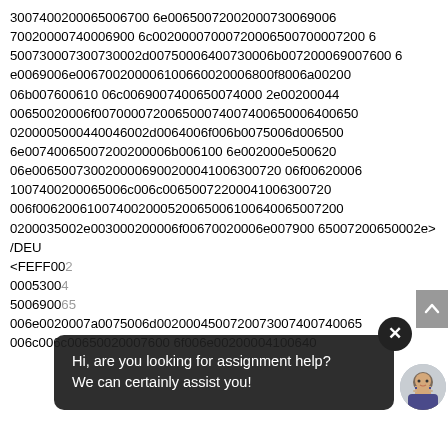3007400200065006700 6e00650072002000730069006700200007400 69006c002000700072006500700007200650073007300730073002d0075006400730006b00720006900760006e0069006e00670020006100660020006800f8006a0020006b00760006100 6c00690074006500740002e002000440065002000 6f00700007200650007400074006500640006500 0200005000440046002d0064006f006b0075006d0065006e0074006500720020006b0061006e002000e50062006e00650073002000690020004100630072006f0062006 1007400200065006c006c00650072200004100630072006f0062006100740020005200650061006 4006500720020035002e003000200006f00670020006e00790065007200650002e>
/DEU
<FEFF00...
0005300...
5006900...
006e0020007a0075006d002000450072007300740065
006c006c00650020007600 6f006e00200004100640
[Figure (other): Chat assistant overlay bubble with text 'Hi, are you looking for assignment help? We can certainly assist you!' with a close button (X) and an avatar image of a person.]